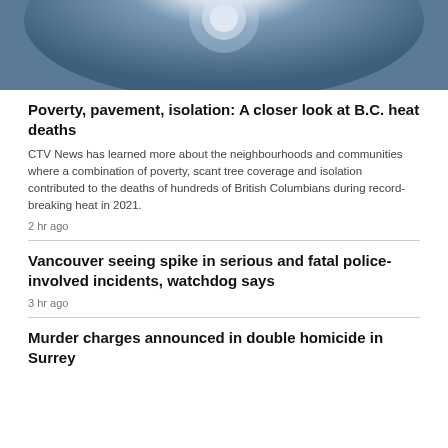[Figure (photo): Sky photo showing bright sun against a blue-grey hazy sky]
Poverty, pavement, isolation: A closer look at B.C. heat deaths
CTV News has learned more about the neighbourhoods and communities where a combination of poverty, scant tree coverage and isolation contributed to the deaths of hundreds of British Columbians during record-breaking heat in 2021.
2 hr ago
Vancouver seeing spike in serious and fatal police-involved incidents, watchdog says
3 hr ago
Murder charges announced in double homicide in Surrey